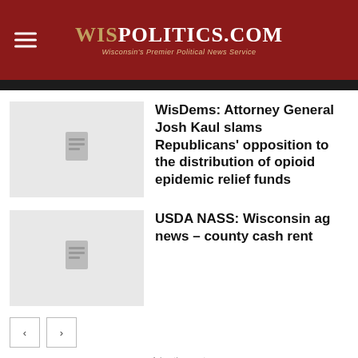WISPOLITICS.COM — Wisconsin's Premier Political News Service
WisDems: Attorney General Josh Kaul slams Republicans' opposition to the distribution of opioid epidemic relief funds
USDA NASS: Wisconsin ag news – county cash rent
- Advertisement -
[Figure (screenshot): Advertisement banner for 'Curious' podcast featuring a phone with yellow background, text 'A PODCAST' and 'science,']